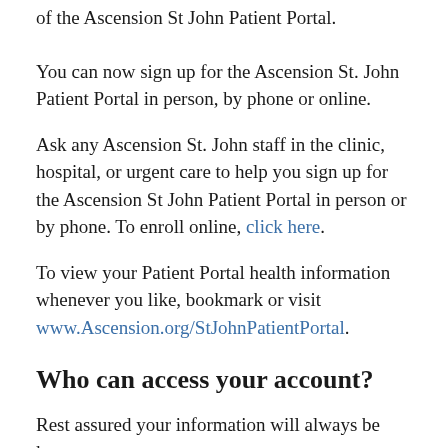of the Ascension St John Patient Portal.
You can now sign up for the Ascension St. John Patient Portal in person, by phone or online.
Ask any Ascension St. John staff in the clinic, hospital, or urgent care to help you sign up for the Ascension St John Patient Portal in person or by phone. To enroll online, click here.
To view your Patient Portal health information whenever you like, bookmark or visit www.Ascension.org/StJohnPatientPortal.
Who can access your account?
Rest assured your information will always be kept